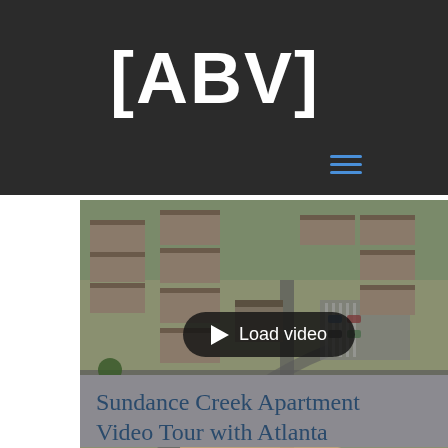[ABV]
[Figure (photo): Aerial drone photograph of Sundance Creek apartment complex in Atlanta, showing multiple residential buildings with brown roofs, parking lots, roads, and trees in winter/early spring.]
Load video
Sundance Creek Apartment Video Tour with Atlanta